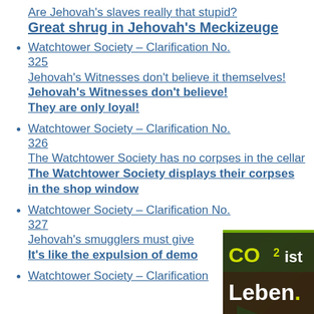Are Jehovah's slaves really that stupid?
Great shrug in Jehovah's Meckizeuge
Watchtower Society – Clarification No. 325
Jehovah's Witnesses don't believe it themselves!
Jehovah's Witnesses don't believe! They are only loyal!
Watchtower Society – Clarification No. 326
The Watchtower Society has no corpses in the cellar
The Watchtower Society displays their corpses in the shop window
Watchtower Society – Clarification No. 327
Jehovah's smugglers must give
It's like the expulsion of demo
Watchtower Society – Clarification No.
[Figure (logo): CO2 ist Leben badge/logo in bottom right corner with green/brown background, yellow CO2 text and white 'ist Leben' text]